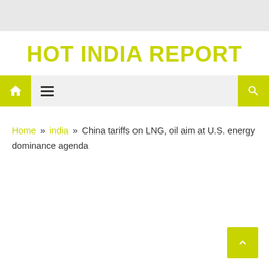HOT INDIA REPORT
Home » india » China tariffs on LNG, oil aim at U.S. energy dominance agenda